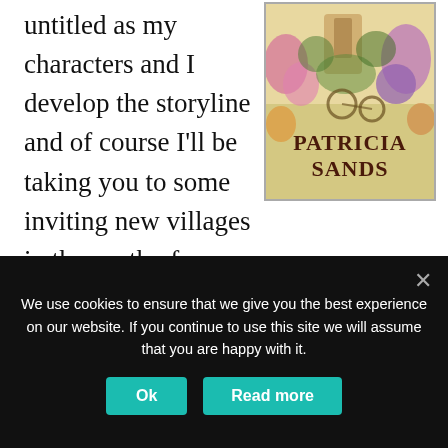untitled as my characters and I develop the storyline and of course I'll be taking you to some inviting new villages in the south of France. But first we have to spend a bit of time in Toronto ...
[Figure (illustration): Book cover illustration with a garden/flower scene and author name Patricia Sands in bold text]
I assure you Katherine and Philippe have
We use cookies to ensure that we give you the best experience on our website. If you continue to use this site we will assume that you are happy with it.